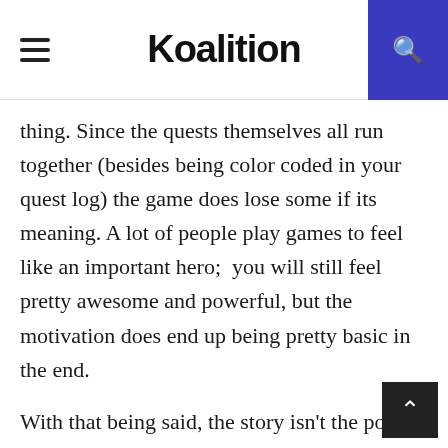Koalition
thing. Since the quests themselves all run together (besides being color coded in your quest log) the game does lose some if its meaning. A lot of people play games to feel like an important hero;  you will still feel pretty awesome and powerful, but the motivation does end up being pretty basic in the end.
With that being said, the story isn't the point really. The beautiful things about Torchlight II lie in the details. It's not the quest itself that keeps people interested, it's the game's